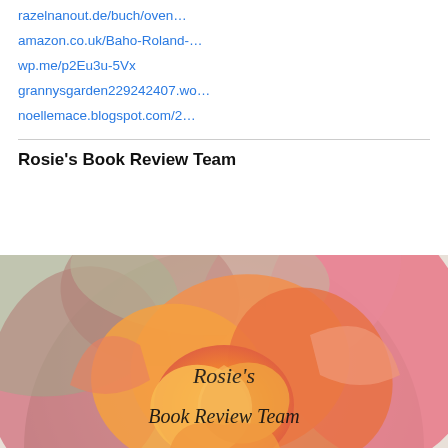razelnanout.de/buch/oven...
amazon.co.uk/Baho-Roland-...
wp.me/p2Eu3u-5Vx
grannysgarden229242407.wo...
noellemace.blogspot.com/2...
Rosie's Book Review Team
[Figure (photo): A colorful rose (orange, pink, green tones) with text overlay reading 'Rosie's Book Review Team']